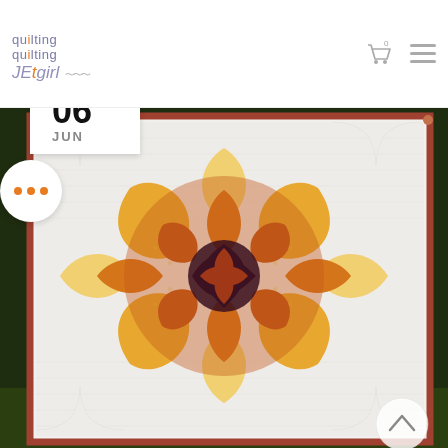quilting quilting JET girl — website header with logo and navigation icons
[Figure (photo): A large decorative quilt displayed outdoors against green foliage. The quilt features a starburst/sunflower medallion design with concentric curved petal shapes in shades of deep purple/maroon at center, surrounded by burnt orange, golden orange, and pale yellow, set against a white background with quilted wave patterns. The quilt has a rust/terracotta border binding and is hung on a rod.]
06 JUN
... (three orange dots)